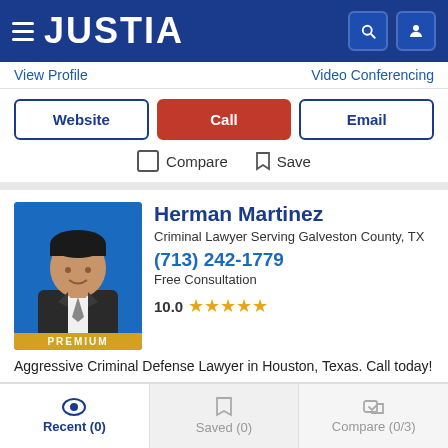JUSTIA
View Profile   Video Conferencing
Website | Call | Email
Compare   Save
Herman Martinez
Criminal Lawyer Serving Galveston County, TX
(713) 242-1779
Free Consultation
10.0 ★★★★★
Aggressive Criminal Defense Lawyer in Houston, Texas. Call today!
View Profile   Video Conferencing
Recent (0)   Saved (0)   Compare (0/3)